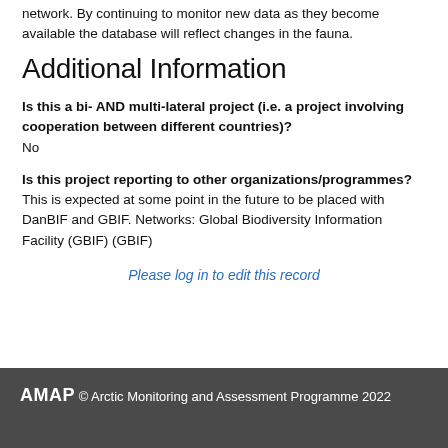network. By continuing to monitor new data as they become available the database will reflect changes in the fauna.
Additional Information
Is this a bi- AND multi-lateral project (i.e. a project involving cooperation between different countries)?
No
Is this project reporting to other organizations/programmes?
This is expected at some point in the future to be placed with DanBIF and GBIF. Networks: Global Biodiversity Information Facility (GBIF) (GBIF)
Please log in to edit this record
AMAP © Arctic Monitoring and Assessment Programme 2022